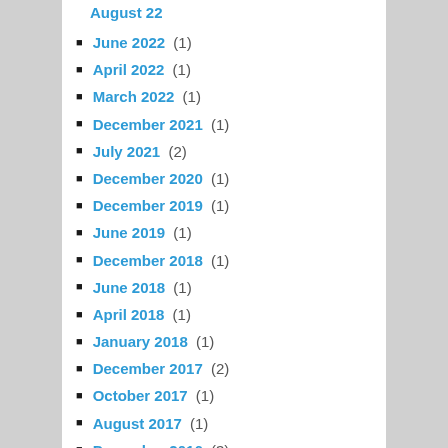August 22 (partial, top)
June 2022 (1)
April 2022 (1)
March 2022 (1)
December 2021 (1)
July 2021 (2)
December 2020 (1)
December 2019 (1)
June 2019 (1)
December 2018 (1)
June 2018 (1)
April 2018 (1)
January 2018 (1)
December 2017 (2)
October 2017 (1)
August 2017 (1)
December 2016 (3)
October 2016 (1)
December 2015 (1)
October 2015 (1)
September 2015 (1)
August 2015 (1)